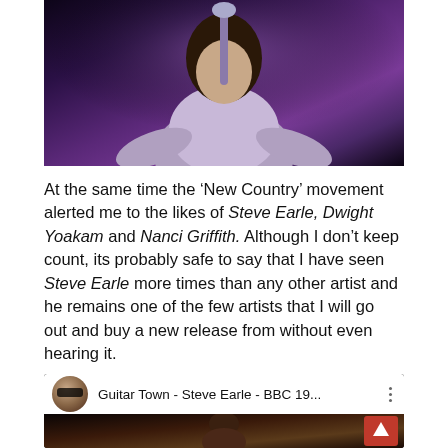[Figure (photo): A performer on stage singing into a microphone, dark background with purple/violet stage lighting, person wearing a light-colored shirt]
At the same time the ‘New Country’ movement alerted me to the likes of Steve Earle, Dwight Yoakam and Nanci Griffith. Although I don’t keep count, its probably safe to say that I have seen Steve Earle more times than any other artist and he remains one of the few artists that I will go out and buy a new release from without even hearing it.
[Figure (screenshot): YouTube video thumbnail showing 'Guitar Town - Steve Earle - BBC 19...' with a bald man with sunglasses avatar icon, and a video thumbnail of a performer]